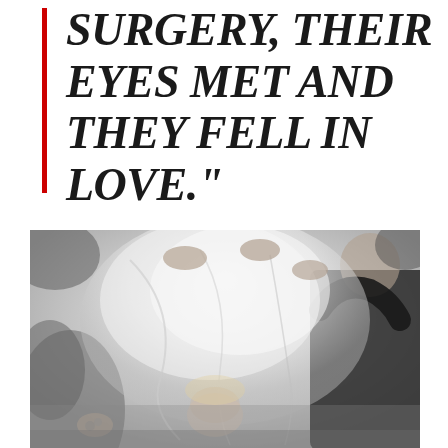SURGERY, THEIR EYES MET AND THEY FELL IN LOVE."
[Figure (photo): Black and white wedding photo showing a bride with a veil being lifted, with hands reaching to adjust the veil, and a groom in a dark suit visible on the right.]